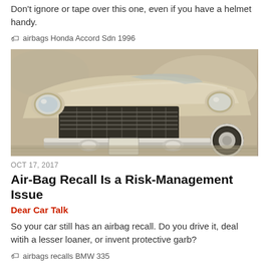Don't ignore or tape over this one, even if you have a helmet handy.
🏷 airbags Honda Accord Sdn 1996
[Figure (photo): Close-up front view of a vintage classic cream/beige car showing chrome grille, headlights, and front bumper details in a sepia-toned style]
OCT 17, 2017
Air-Bag Recall Is a Risk-Management Issue
Dear Car Talk
So your car still has an airbag recall. Do you drive it, deal witih a lesser loaner, or invent protective garb?
🏷 airbags recalls BMW 335